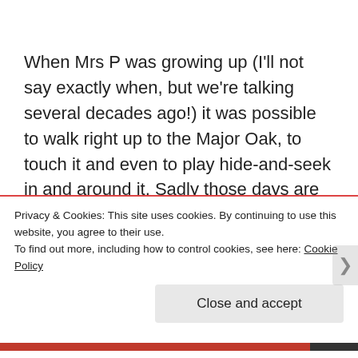When Mrs P was growing up (I'll not say exactly when, but we're talking several decades ago!) it was possible to walk right up to the Major Oak, to touch it and even to play hide-and-seek in and around it. Sadly those days are gone. Today admirers are kept at a respectful distance and...
Privacy & Cookies: This site uses cookies. By continuing to use this website, you agree to their use.
To find out more, including how to control cookies, see here: Cookie Policy
Close and accept